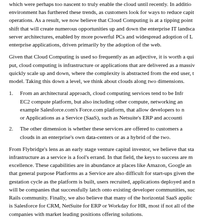which were perhaps too nascent to truly enable the cloud until recently.  In addition, the macro environment has furthered these trends, as customers look for ways to reduce capital expenditures in their operations.  As a result, we now believe that Cloud Computing is at a tipping point, representing a shift that will create numerous opportunities up and down the enterprise IT landscape, similar to client server architectures, enabled by more powerful PCs and widespread adoption of Linux, and web-based enterprise applications, driven primarily by the adoption of the web.
Given that Cloud Computing is used so frequently as an adjective, it is worth a quick definition.  Simply put, cloud computing is infrastructure or applications that are delivered as a massive utility, where users can quickly scale up and down, where the complexity is abstracted from the end user, and billed on a usage model.  Taking this down a level, we think about clouds along two dimensions.
From an architectural approach, cloud computing services tend to be Infrastructure as a Service, like Amazon's EC2 compute platform, but also including other compute, networking and storage infrastructure, or Platform as a Service, for example Salesforce.com's Force.com platform, that allow developers to more rapidly build applications, or Applications as a Service (SaaS), such as Netsuite's ERP and accounting software.
The other dimension is whether these services are offered to customers as public clouds, private clouds in an enterprise's own data-centers or as a hybrid of the two.
From Flybridge's lens as an early stage venture capital investor, we believe that starting a company doing infrastructure as a service is a fool's errand.  In that field, the keys to success are massive scale and operational excellence.  These capabilities are in abundance at places like Amazon, Google and Microsoft.  We also believe that general purpose Platforms as a Service are also difficult for start-ups given the long and expensive gestation cycle as the platform is built, users recruited, applications deployed and network effects accrue.  There will be companies that successfully latch onto existing developer communities, such as companies targeting the Rails community.  Finally, we also believe that many of the horizontal SaaS applications are taken, whether it is Salesforce for CRM, NetSuite for ERP or Workday for HR, most if not all of these categories have large companies with market leading positions offering solutions.
Does that mean that all the promising opportunities are already secured, or are the